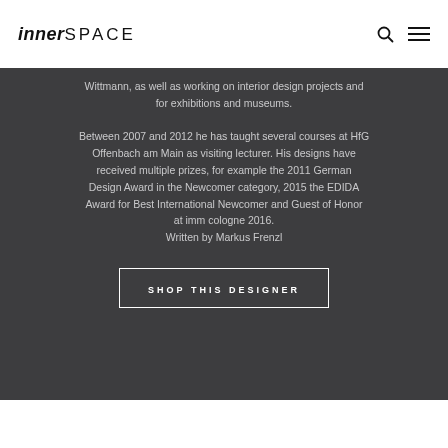innerSPACE
Wittmann, as well as working on interior design projects and for exhibitions and museums.

Between 2007 and 2012 he has taught several courses at HfG Offenbach am Main as visiting lecturer. His designs have received multiple prizes, for example the 2011 German Design Award in the Newcomer category, 2015 the EDIDA Award for Best International Newcomer and Guest of Honor at imm cologne 2016.
Written by Markus Frenzl
SHOP THIS DESIGNER